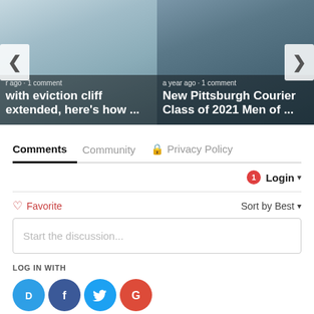[Figure (screenshot): Carousel card left: article image with text overlay 'r ago · 1 comment' and headline 'with eviction cliff extended, here's how ...']
[Figure (screenshot): Carousel card right: article image with text overlay 'a year ago · 1 comment' and headline 'New Pittsburgh Courier Class of 2021 Men of ...']
Comments   Community   🔒 Privacy Policy
1   Login ▼
♡ Favorite   Sort by Best ▼
Start the discussion...
LOG IN WITH
[Figure (screenshot): Social login icons: Disqus (D), Facebook (f), Twitter bird, Google (G)]